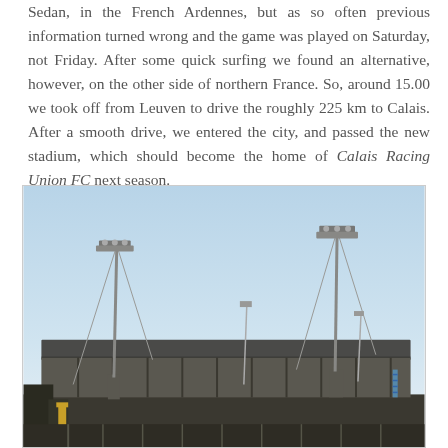Sedan, in the French Ardennes, but as so often previous information turned wrong and the game was played on Saturday, not Friday. After some quick surfing we found an alternative, however, on the other side of northern France. So, around 15.00 we took off from Leuven to drive the roughly 225 km to Calais. After a smooth drive, we entered the city, and passed the new stadium, which should become the home of Calais Racing Union FC next season.
[Figure (photo): Photograph of a football stadium under a clear blue sky, showing the main stand with a flat roof and floodlight pylons on either side.]